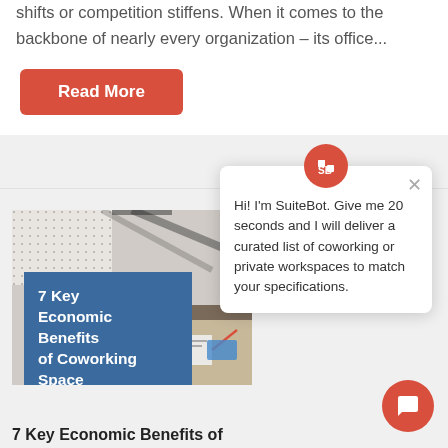shifts or competition stiffens. When it comes to the backbone of nearly every organization – its office...
Read More
[Figure (illustration): Article thumbnail image showing coworking space with dotted pattern overlay and blue title box reading '7 Key Economic Benefits of Coworking Space', plus desk photo with laptop and papers]
Hi! I'm SuiteBot. Give me 20 seconds and I will deliver a curated list of coworking or private workspaces to match your specifications.
7 Key Economic Benefits of